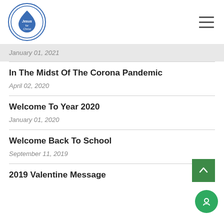[Figure (logo): Jesus for Christ circular logo with house/drop icon in blue]
January 01, 2021
In The Midst Of The Corona Pandemic
April 02, 2020
Welcome To Year 2020
January 01, 2020
Welcome Back To School
September 11, 2019
2019 Valentine Message